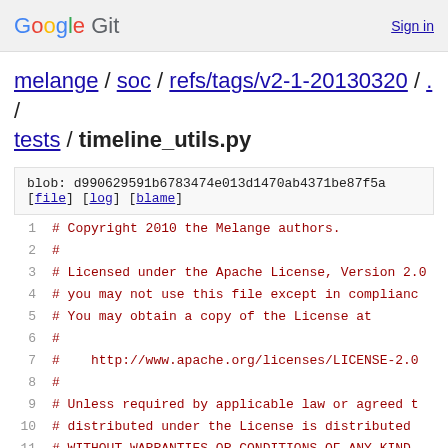Google Git  Sign in
melange / soc / refs/tags/v2-1-20130320 / . / tests / timeline_utils.py
blob: d990629591b6783474e013d1470ab4371be87f5a
[file] [log] [blame]
1  # Copyright 2010 the Melange authors.
2  #
3  # Licensed under the Apache License, Version 2.0
4  # you may not use this file except in compliance
5  # You may obtain a copy of the License at
6  #
7  #    http://www.apache.org/licenses/LICENSE-2.0
8  #
9  # Unless required by applicable law or agreed to
10 # distributed under the License is distributed o
11 # WITHOUT WARRANTIES OR CONDITIONS OF ANY KIND,